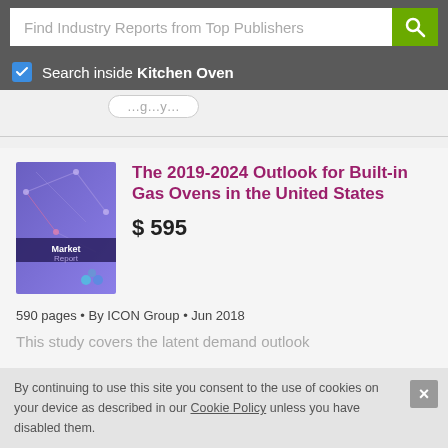Find Industry Reports from Top Publishers
Search inside Kitchen Oven
[Figure (screenshot): Partially visible tab/pill row with rounded pill button]
The 2019-2024 Outlook for Built-in Gas Ovens in the United States
$ 595
590 pages • By ICON Group • Jun 2018
This study covers the latent demand outlook
By continuing to use this site you consent to the use of cookies on your device as described in our Cookie Policy unless you have disabled them.